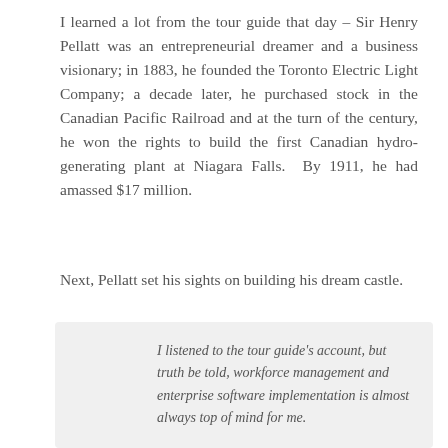I learned a lot from the tour guide that day – Sir Henry Pellatt was an entrepreneurial dreamer and a business visionary; in 1883, he founded the Toronto Electric Light Company; a decade later, he purchased stock in the Canadian Pacific Railroad and at the turn of the century, he won the rights to build the first Canadian hydro-generating plant at Niagara Falls.  By 1911, he had amassed $17 million.
Next, Pellatt set his sights on building his dream castle.
I listened to the tour guide's account, but truth be told, workforce management and enterprise software implementation is almost always top of mind for me.

So it was pretty inevitable that I was drawn to make certain comparisons between Pellatt's journey and the enterprise software market.